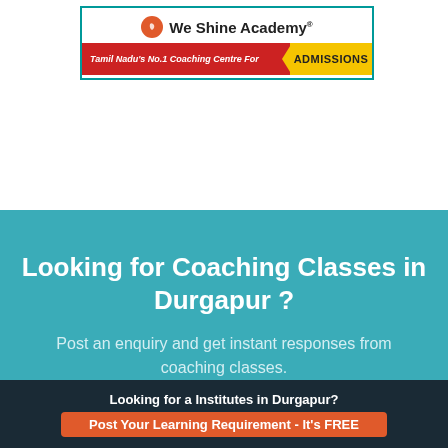[Figure (logo): We Shine Academy banner with red section reading 'Tamil Nadu's No.1 Coaching Centre For' and yellow 'ADMISSIONS' flag]
Looking for Coaching Classes in Durgapur ?
Post an enquiry and get instant responses from coaching classes.
Looking for a Institutes in Durgapur?
Post Your Learning Requirement - It's FREE